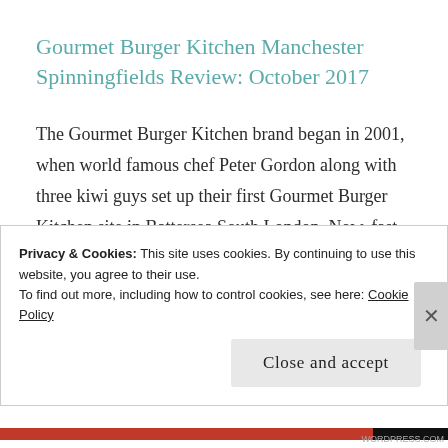Gourmet Burger Kitchen Manchester Spinningfields Review: October 2017
The Gourmet Burger Kitchen brand began in 2001, when world famous chef Peter Gordon along with three kiwi guys set up their first Gourmet Burger Kitchen site in Battersea South London. Now, fast forward to 2017 and they now have over 80 restaurants across the UK. The focus is on quality handcrafted burgers using the freshest ingredients and creating all their burger sauces daily from
Privacy & Cookies: This site uses cookies. By continuing to use this website, you agree to their use.
To find out more, including how to control cookies, see here: Cookie Policy
Close and accept